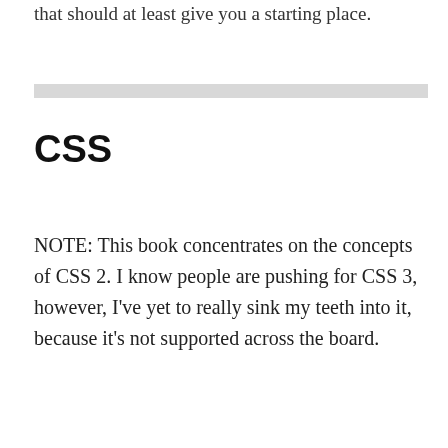that should at least give you a starting place.
CSS
NOTE: This book concentrates on the concepts of CSS 2. I know people are pushing for CSS 3, however, I’ve yet to really sink my teeth into it, because it’s not supported across the board.